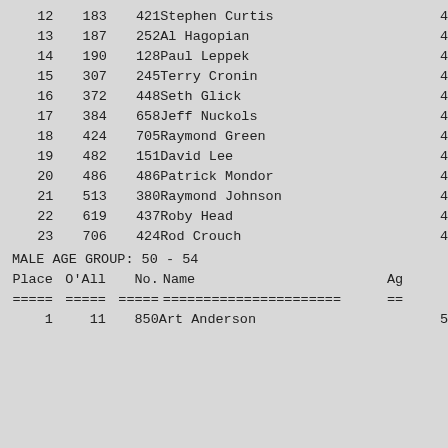| Place | O'All | No. | Name | Ag |
| --- | --- | --- | --- | --- |
| 12 | 183 | 421 | Stephen Curtis | 4 |
| 13 | 187 | 252 | Al Hagopian | 4 |
| 14 | 190 | 128 | Paul Leppek | 4 |
| 15 | 307 | 245 | Terry Cronin | 4 |
| 16 | 372 | 448 | Seth Glick | 4 |
| 17 | 384 | 658 | Jeff Nuckols | 4 |
| 18 | 424 | 705 | Raymond Green | 4 |
| 19 | 482 | 151 | David Lee | 4 |
| 20 | 486 | 486 | Patrick Mondor | 4 |
| 21 | 513 | 380 | Raymond Johnson | 4 |
| 22 | 619 | 437 | Roby Head | 4 |
| 23 | 706 | 424 | Rod Crouch | 4 |
MALE AGE GROUP:  50 - 54
| Place | O'All | No. | Name | Ag |
| --- | --- | --- | --- | --- |
| ===== | ===== | ===== | ====================== | == |
| 1 | 11 | 850 | Art Anderson | 5 |